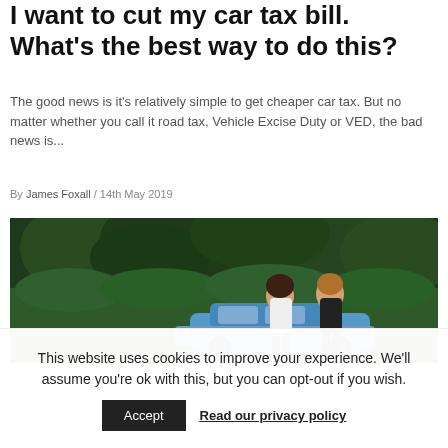I want to cut my car tax bill. What's the best way to do this?
The good news is it's relatively simple to get cheaper car tax. But no matter whether you call it road tax, Vehicle Excise Duty or VED, the bad news is...
By James Foxall / 14th May 2019
[Figure (photo): Two women standing in front of a blue car with green foliage in the background]
This website uses cookies to improve your experience. We'll assume you're ok with this, but you can opt-out if you wish.